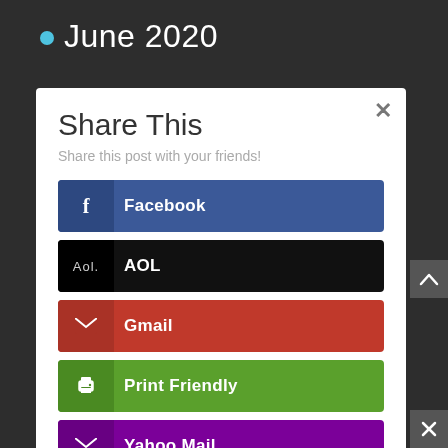• June 2020
Share This
Share this post with your friends!
Facebook
AOL
Gmail
Print Friendly
Yahoo Mail